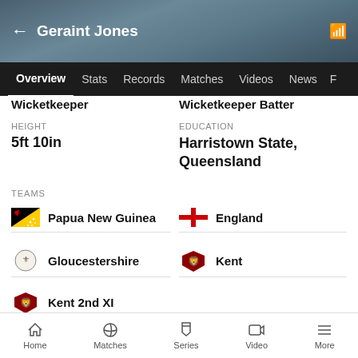Geraint Jones
Overview | Stats | Records | Matches | Videos | News
Wicketkeeper | Wicketkeeper Batter
HEIGHT: 5ft 10in
EDUCATION: Harristown State, Queensland
TEAMS
Papua New Guinea
England
Gloucestershire
Kent
Kent 2nd XI
Geraint Jones, as he happily admitted upon his
Home | Matches | Series | Video | More